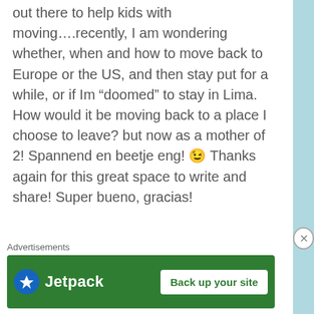out there to help kids with moving….recently, I am wondering whether, when and how to move back to Europe or the US, and then stay put for a while, or if Im “doomed” to stay in Lima. How would it be moving back to a place I choose to leave? but now as a mother of 2! Spannend en beetje eng! 😉 Thanks again for this great space to write and share! Super bueno, gracias!
Like
expatsincebirth
October 11, 2013 at 8:55 am
Advertisements
[Figure (screenshot): Jetpack advertisement banner with green background, Jetpack logo on left, and 'Back up your site' button on right]